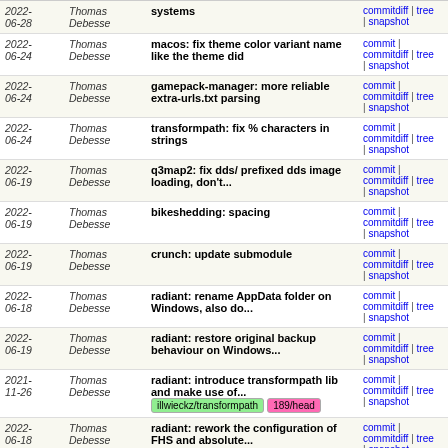| Date | Author | Message | Links |
| --- | --- | --- | --- |
| 2022-06-28 | Thomas Debesse | systems | commit | commitdiff | tree | snapshot |
| 2022-06-24 | Thomas Debesse | macos: fix theme color variant name like the theme did | commit | commitdiff | tree | snapshot |
| 2022-06-24 | Thomas Debesse | gamepack-manager: more reliable extra-urls.txt parsing | commit | commitdiff | tree | snapshot |
| 2022-06-24 | Thomas Debesse | transformpath: fix % characters in strings | commit | commitdiff | tree | snapshot |
| 2022-06-19 | Thomas Debesse | q3map2: fix dds/ prefixed dds image loading, don't... | commit | commitdiff | tree | snapshot |
| 2022-06-19 | Thomas Debesse | bikeshedding: spacing | commit | commitdiff | tree | snapshot |
| 2022-06-19 | Thomas Debesse | crunch: update submodule | commit | commitdiff | tree | snapshot |
| 2022-06-18 | Thomas Debesse | radiant: rename AppData folder on Windows, also do... | commit | commitdiff | tree | snapshot |
| 2022-06-19 | Thomas Debesse | radiant: restore original backup behaviour on Windows... | commit | commitdiff | tree | snapshot |
| 2021-11-26 | Thomas Debesse | radiant: introduce transformpath lib and make use of... [illwieckz/transformpath] [189/head] | commit | commitdiff | tree | snapshot |
| 2022-06-18 | Thomas Debesse | radiant: rework the configuration of FHS and absolute... | commit | commitdiff | tree | snapshot |
...
tags
| Age | Tag | Description | Links |
| --- | --- | --- | --- |
| 5 years ago | xonotic- | Xonotic 0.8.2 release | tag | commit | shortlog | |